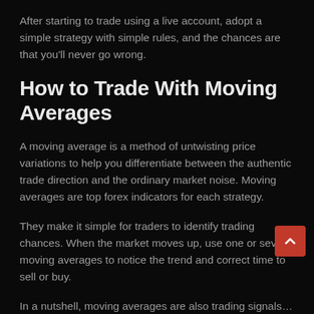After starting to trade using a live account, adopt a simple strategy with simple rules, and the chances are that you'll never go wrong.
How to Trade With Moving Averages
A moving average is a method of untwisting price variations to help you differentiate between the authentic trade direction and the ordinary market noise. Moving averages are top forex indicators for each strategy.
They make it simple for traders to identify trading chances. When the market moves up, use one or several moving averages to notice the trend and correct time to sell or buy.
In a nutshell, moving averages are also trading signals…